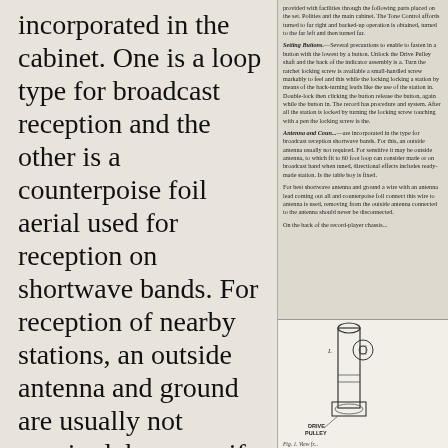incorporated in the cabinet. One is a loop type for broadcast reception and the other is a counterpoise foil aerial used for reception on shortwave bands. For reception of nearby stations, an outside antenna and ground are usually not required, however if lo
provided with facilities through the following parts placed on the set. Polities and the main cabinet. The Tone Control affords turned to far right and backed-up operation is obtained, turned to the far left and then turned far...
Setting Buttons.
Several precautions to enable to fasten in a button with the lowest by a button. Unlock the Drive Pulley shaft and the back of the indicator assembly is a Turn the ratchet locking screw is available a small-handled screw markably to feel and this while the locking locking a station by means of the back-turning leads like the use of the station in. Double-lock then clicking the button release the button, again while the button in. The record has procedure and system. After all the station is locked by turning the locking screw touching with a pen the locking screw is the...
Antenna and Ground.
are incorporated in the type for broadcast reception shortwave bands. For this, an outside antenna usually not required. For sensitive it may be outside antenna, to which fit to 60 foot loop can consider made or on broadcast band when tuned, directional effects includes ready-made station. Is the table boy is fixed.
For best shortwave antenna and ground a wire with an antenna lead coming out all and counterpoise foil connect this wire to antenna is used, removing from the outside antenna connected to the antenna should never be disconnected.
On the back of the record-player chassis...
[Figure (engineering-diagram): Mechanical diagram showing a drive pulley assembly with labeled components. Shows a vertical elongated component with a circular element (labeled with L) and a drive pulley at the bottom. Caption reads: Fig. 1. View fr...]
Fig. 1. View fr...